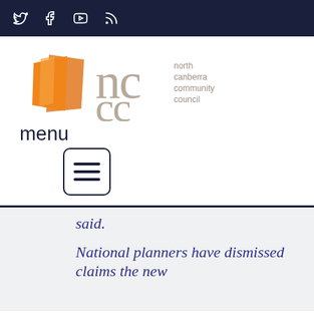Social media icons: Twitter, Facebook, YouTube, RSS
[Figure (logo): North Canberra Community Council logo — orange geometric shape, large decorative 'nc cc' letters in taupe/grey, text reading 'north canberra community council']
menu
[Figure (other): Hamburger menu button — three horizontal lines inside a rounded rectangle border]
said.

National planners have dismissed claims the new